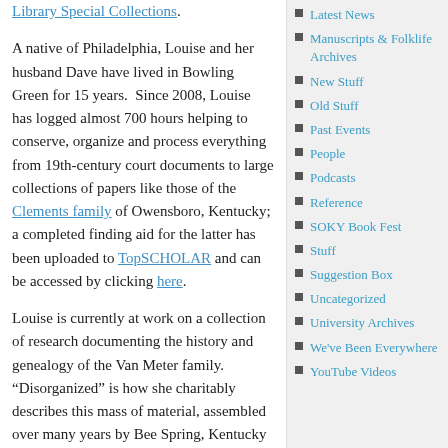Library Special Collections. A native of Philadelphia, Louise and her husband Dave have lived in Bowling Green for 15 years.  Since 2008, Louise has logged almost 700 hours helping to conserve, organize and process everything from 19th-century court documents to large collections of papers like those of the Clements family of Owensboro, Kentucky; a completed finding aid for the latter has been uploaded to TopSCHOLAR and can be accessed by clicking here.
Louise is currently at work on a collection of research documenting the history and genealogy of the Van Meter family. “Disorganized” is how she charitably describes this mass of material, assembled over many years by Bee Spring, Kentucky resident J. C. Van Meter after extensive correspondence with
Latest News
Manuscripts & Folklife Archives
New Stuff
Old Stuff
Past Events
People
Podcasts
Reference
SOKY Book Fest
Stuff
Suggestion Box
Uncategorized
University Archives
We've Been Everywhere
YouTube Videos